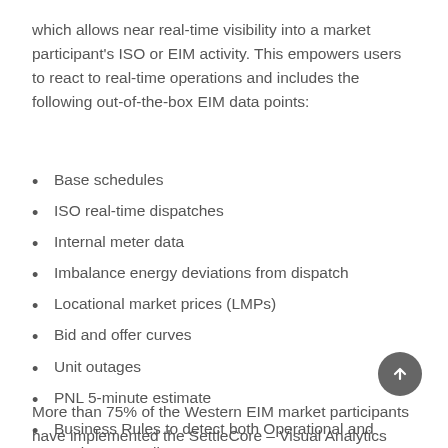which allows near real-time visibility into a market participant's ISO or EIM activity. This empowers users to react to real-time operations and includes the following out-of-the-box EIM data points:
Base schedules
ISO real-time dispatches
Internal meter data
Imbalance energy deviations from dispatch
Locational market prices (LMPs)
Bid and offer curves
Unit outages
PNL 5-minute estimate
Business Rules to detect both Operational and Market anomalies
More than 75% of the Western EIM market participants have implemented the SettleCore – Visual Analytics